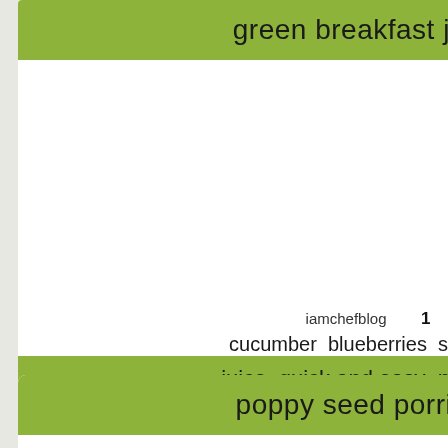green breakfast juice
[Figure (photo): White empty area representing a recipe card image placeholder for green breakfast juice]
iamchefblog    1
cucumber  blueberries  spinach
juice  quick and easy  no cook
poppy seed porridge